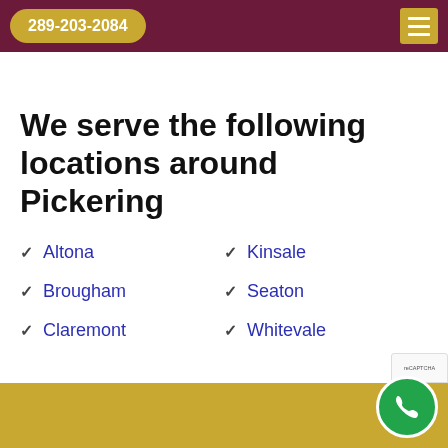289-203-2084
We serve the following locations around Pickering
Altona
Kinsale
Brougham
Seaton
Claremont
Whitevale